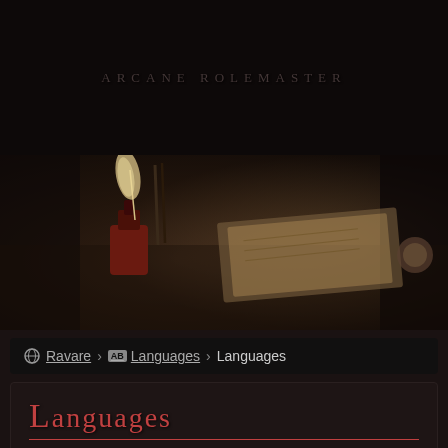ARCANE ROLEMASTER
[Figure (photo): Dark fantasy scene showing an ink bottle with a quill/feather, writing instruments, and a book/map on a dark wooden surface. Moody, dark-toned photograph.]
Ravare > Languages > Languages
LANGUAGES
Description coming soon here about how every language originates from 10 original elemental languages.